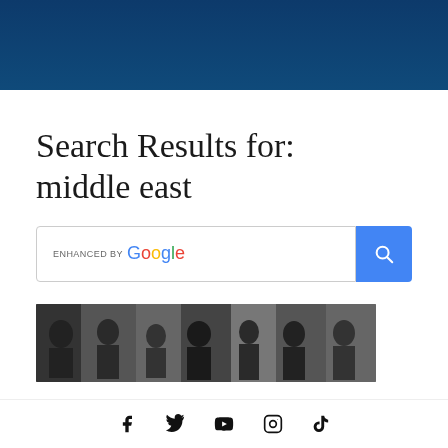[Figure (screenshot): Dark navy blue header banner]
Search Results for: middle east
[Figure (screenshot): Google enhanced search box with blue search button]
[Figure (photo): Black and white photograph showing a group of men in suits, appears to be a historical political meeting in the Middle East]
Social media icons: Facebook, Twitter, YouTube, Instagram, TikTok